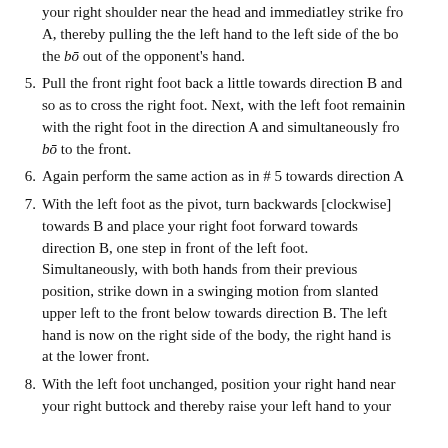(continued) Both feet remain unchanged in lebutsa-dachi towards direction... your right shoulder near the head and immediatley strike from A, thereby pulling the the left hand to the left side of the bo... the bō out of the opponent's hand.
5. Pull the front right foot back a little towards direction B and so as to cross the right foot. Next, with the left foot remaining with the right foot in the direction A and simultaneously fro... bō to the front.
6. Again perform the same action as in # 5 towards direction A
7. With the left foot as the pivot, turn backwards [clockwise] towards B and place your right foot forward towards direction B, one step in front of the left foot. Simultaneously, with both hands from their previous position, strike down in a swinging motion from slanted upper left to the front below towards direction B. The left hand is now on the right side of the body, the right hand is at the lower front.
8. With the left foot unchanged, position your right hand near your right buttock and thereby raise your left hand to your ...